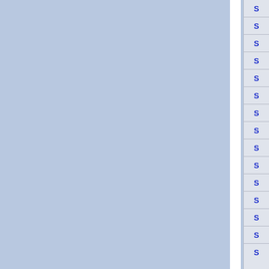[Figure (other): Two light blue rectangular panels side by side with a white vertical gap between them, occupying the left portion of the page. The background is a slightly darker blue-gray.]
| S |
| --- |
| S |
| S |
| S |
| S |
| S |
| S |
| S |
| S |
| S |
| S |
| S |
| S |
| S |
| S |
| S |